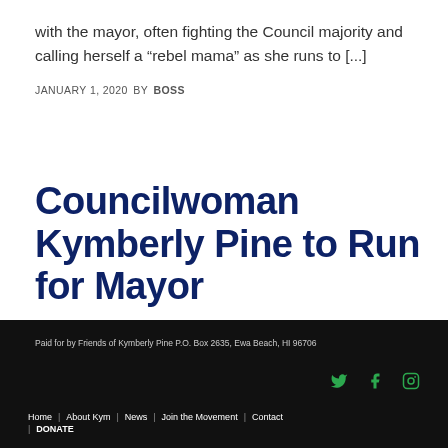with the mayor, often fighting the Council majority and calling herself a “rebel mama” as she runs to [...]
JANUARY 1, 2020 BY BOSS
Councilwoman Kymberly Pine to Run for Mayor
Paid for by Friends of Kymberly Pine P.O. Box 2635, Ewa Beach, HI 96706
Home | About Kym | News | Join the Movement | Contact | DONATE